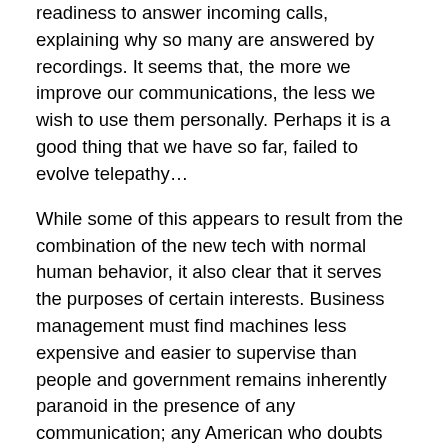readiness to answer incoming calls, explaining why so many are answered by recordings. It seems that, the more we improve our communications, the less we wish to use them personally. Perhaps it is a good thing that we have so far, failed to evolve telepathy…
While some of this appears to result from the combination of the new tech with normal human behavior, it also clear that it serves the purposes of certain interests. Business management must find machines less expensive and easier to supervise than people and government remains inherently paranoid in the presence of any communication; any American who doubts that last has but to contemplate the NSA. Both of these parties obviously share an interest in communicating with and snooping upon us and rather less interest in facilitating our private communication. It probably should not surprise us to see the regularly